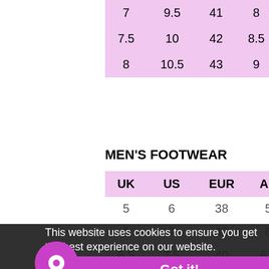| 7 | 9.5 | 41 | 8 | 25.5 |
| 7.5 | 10 | 42 | 8.5 | 26 |
| 8 | 10.5 | 43 | 9 | 27 |
MEN'S FOOTWEAR
| UK | US | EUR | AU | JAPAN |
| --- | --- | --- | --- | --- |
| 5 | 6 | 38 | 5 | 23.5 |
| 6 | 7 | 39 | 6 | 24.5 |
| 6.5 | 7.5 | 40 | 6.5 | 25 |
| 7 | 8 | 41 | 7 | 25.5 |
| 7.5 | 8.5 | 42 |  |  |
| 8 | 9 | 43 | 8 | 27 |
| 9.5 | 10.5 | 44 | 9.5 | 28 |
This website uses cookies to ensure you get the best experience on our website. Learn More